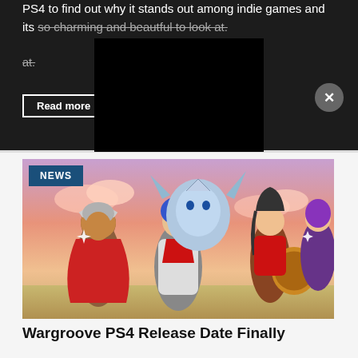PS4 to find out why it stands out among indie games and its so charming and beautful to look at.
Read more
[Figure (screenshot): Black video player overlay with a close X button in top right corner]
[Figure (illustration): Wargroove PS4 game art showing a group of stylized fantasy characters including warriors, a dragon creature, and other heroes posed together against a sunset sky background with a NEWS badge in the top left corner]
Wargroove PS4 Release Date Finally